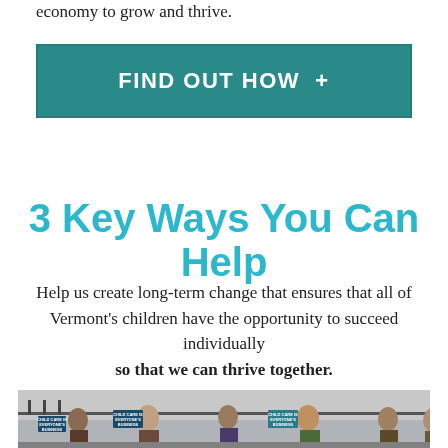economy to grow and thrive.
FIND OUT HOW  +
3 Key Ways You Can Help
Help us create long-term change that ensures that all of Vermont's children have the opportunity to succeed individually so that we can thrive together.
[Figure (photo): Crowd of people holding signs that read 'Child Care is Everyone's Business' at what appears to be an advocacy rally or protest outside a building.]